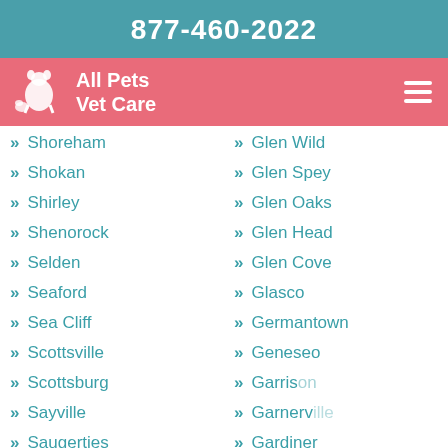877-460-2022
All Pets Vet Care
Shoreham
Shokan
Shirley
Shenorock
Selden
Seaford
Sea Cliff
Scottsville
Scottsburg
Sayville
Saugerties
Salt Point
Salisbury Mills
Glen Wild
Glen Spey
Glen Oaks
Glen Head
Glen Cove
Glasco
Germantown
Geneseo
Garrison
Garnerville
Gardiner
Garden City
Freeport